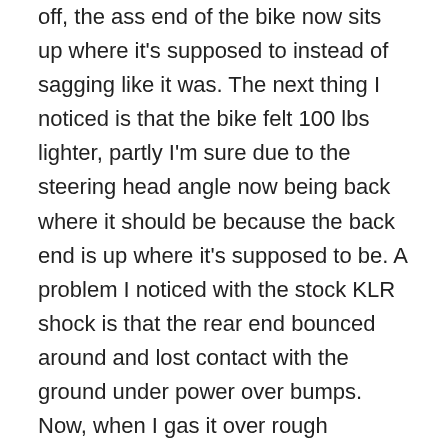off, the ass end of the bike now sits up where it's supposed to instead of sagging like it was. The next thing I noticed is that the bike felt 100 lbs lighter, partly I'm sure due to the steering head angle now being back where it should be because the back end is up where it's supposed to be. A problem I noticed with the stock KLR shock is that the rear end bounced around and lost contact with the ground under power over bumps. Now, when I gas it over rough sections of road, the rear tire remains planted and hooked up with the road… and does not bounce around… amazing! This is all just on pavement...I can't wait to get it off-road! OK granted, the KLR's stock suspension is not very sophisticated, but holy crap what a difference! So I knew that the Ricor shock would be a substantial improvement over the squishy stock unit, but I was shocked (pardon the pun) at how well the